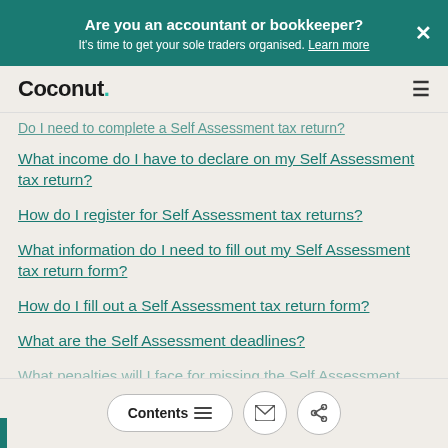Are you an accountant or bookkeeper? It's time to get your sole traders organised. Learn more
Coconut.
Do I need to complete a Self Assessment tax return?
What income do I have to declare on my Self Assessment tax return?
How do I register for Self Assessment tax returns?
What information do I need to fill out my Self Assessment tax return form?
How do I fill out a Self Assessment tax return form?
What are the Self Assessment deadlines?
Contents  [email icon]  [share icon]